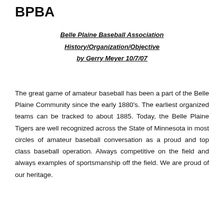BPBA
Belle Plaine Baseball Association
History/Organization/Objective
by Gerry Meyer 10/7/07
The great game of amateur baseball has been a part of the Belle Plaine Community since the early 1880's. The earliest organized teams can be tracked to about 1885. Today, the Belle Plaine Tigers are well recognized across the State of Minnesota in most circles of amateur baseball conversation as a proud and top class baseball operation. Always competitive on the field and always examples of sportsmanship off the field. We are proud of our heritage.